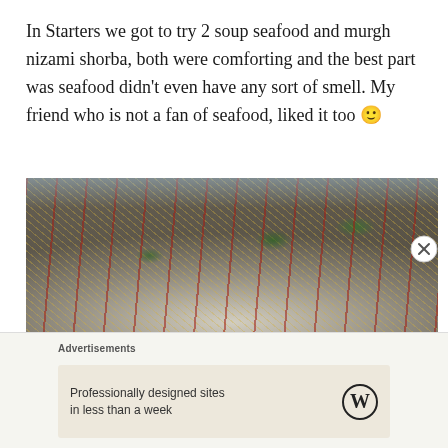In Starters we got to try 2 soup seafood and murgh nizami shorba, both were comforting and the best part was seafood didn't even have any sort of smell. My friend who is not a fan of seafood, liked it too 🙂
[Figure (photo): A close-up photo of an Indian street food dish — likely dahi papdi chaat or a similar chaat — arranged on a dark slate plate. The dish features white cream/curd, golden sev (crispy noodles), green chutney, red tamarind sauce drizzled over, and fresh coriander leaves garnish.]
Advertisements
Professionally designed sites in less than a week